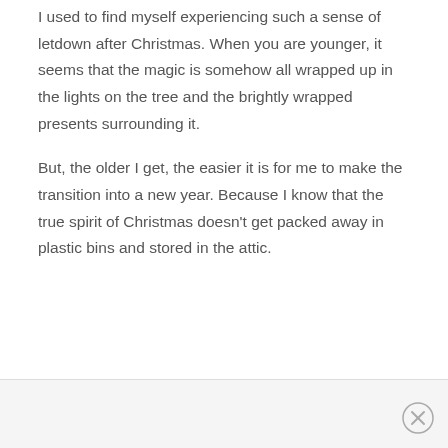I used to find myself experiencing such a sense of letdown after Christmas. When you are younger, it seems that the magic is somehow all wrapped up in the lights on the tree and the brightly wrapped presents surrounding it.
But, the older I get, the easier it is for me to make the transition into a new year. Because I know that the true spirit of Christmas doesn't get packed away in plastic bins and stored in the attic.